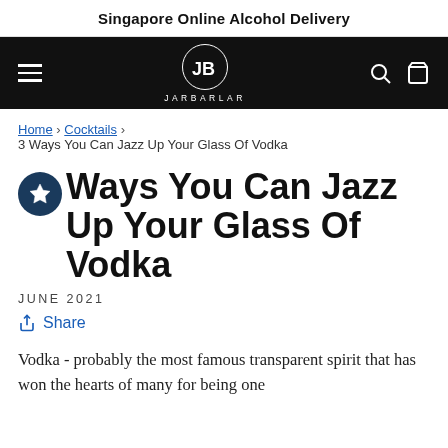Singapore Online Alcohol Delivery
[Figure (logo): JarBarLar logo — circular monogram 'JB' in white on black background with text JARBARLAR below, navigation bar with hamburger menu, search and cart icons]
Home › Cocktails › 3 Ways You Can Jazz Up Your Glass Of Vodka
3 Ways You Can Jazz Up Your Glass Of Vodka
JUNE 2021
Share
Vodka - probably the most famous transparent spirit that has won the hearts of many for being one